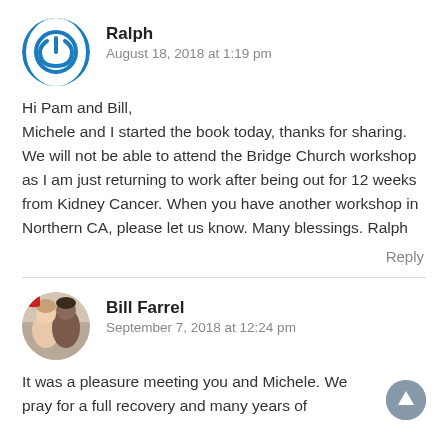Ralph
August 18, 2018 at 1:19 pm
Hi Pam and Bill,
Michele and I started the book today, thanks for sharing. We will not be able to attend the Bridge Church workshop as I am just returning to work after being out for 12 weeks from Kidney Cancer. When you have another workshop in Northern CA, please let us know. Many blessings. Ralph
Reply
Bill Farrel
September 7, 2018 at 12:24 pm
It was a pleasure meeting you and Michele. We pray for a full recovery and many years of